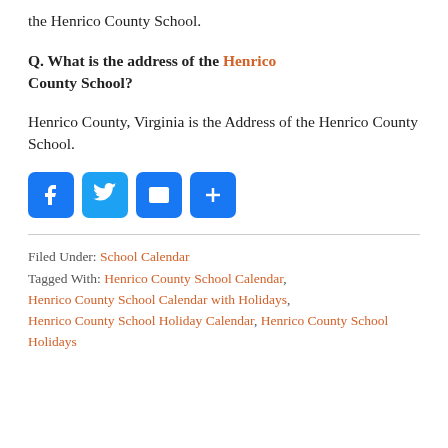the Henrico County School.
Q. What is the address of the Henrico County School?
Henrico County, Virginia is the Address of the Henrico County School.
[Figure (other): Social sharing buttons: Facebook, Twitter, Email, Share (plus icon)]
Filed Under: School Calendar
Tagged With: Henrico County School Calendar, Henrico County School Calendar with Holidays, Henrico County School Holiday Calendar, Henrico County School Holidays